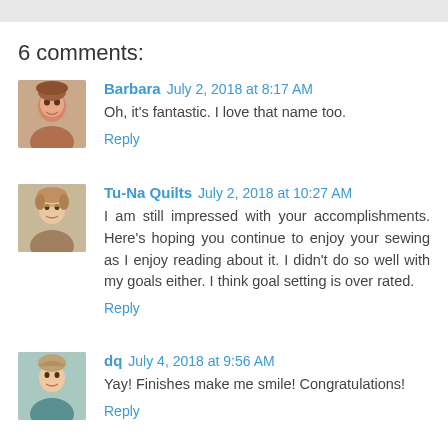6 comments:
Barbara  July 2, 2018 at 8:17 AM
Oh, it's fantastic. I love that name too.
Reply
Tu-Na Quilts  July 2, 2018 at 10:27 AM
I am still impressed with your accomplishments. Here's hoping you continue to enjoy your sewing as I enjoy reading about it. I didn't do so well with my goals either. I think goal setting is over rated.
Reply
dq  July 4, 2018 at 9:56 AM
Yay! Finishes make me smile! Congratulations!
Reply